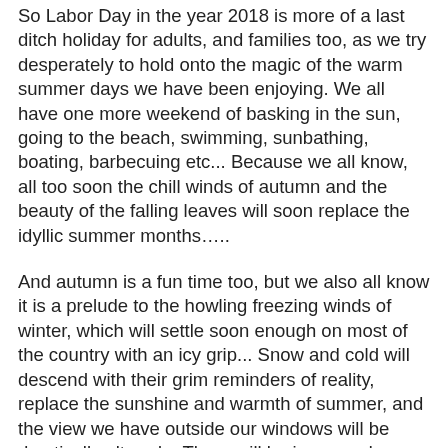So Labor Day in the year 2018 is more of a last ditch holiday for adults, and families too, as we try desperately to hold onto the magic of the warm summer days we have been enjoying. We all have one more weekend of basking in the sun, going to the beach, swimming, sunbathing, boating, barbecuing etc... Because we all know, all too soon the chill winds of autumn and the beauty of the falling leaves will soon replace the idyllic summer months…..
And autumn is a fun time too, but we also all know it is a prelude to the howling freezing winds of winter, which will settle soon enough on most of the country with an icy grip... Snow and cold will descend with their grim reminders of reality, replace the sunshine and warmth of summer, and the view we have outside our windows will be drastically altered....There will be increased heating bills, more traffic snarls and icy roads, and that biting freezing winter weather to deal with....